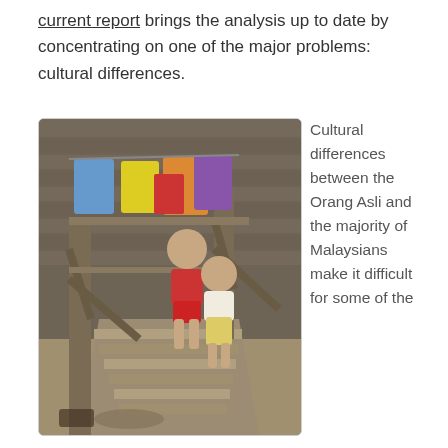current report brings the analysis up to date by concentrating on one of the major problems: cultural differences.
[Figure (photo): Two young children standing on wooden stairs of a traditional stilt house. Laundry hangs in the background. The setting appears to be a rural Malaysian Orang Asli village.]
Cultural differences between the Orang Asli and the majority of Malaysians make it difficult for some of the